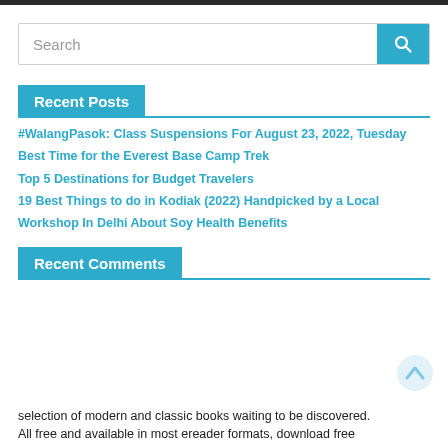[Figure (other): Dark top navigation bar]
[Figure (other): Search input box with teal search button and magnifying glass icon]
Recent Posts
#WalangPasok: Class Suspensions For August 23, 2022, Tuesday
Best Time for the Everest Base Camp Trek
Top 5 Destinations for Budget Travelers
19 Best Things to do in Kodiak (2022) Handpicked by a Local
Workshop In Delhi About Soy Health Benefits
Recent Comments
selection of modern and classic books waiting to be discovered. All free and available in most ereader formats, download free